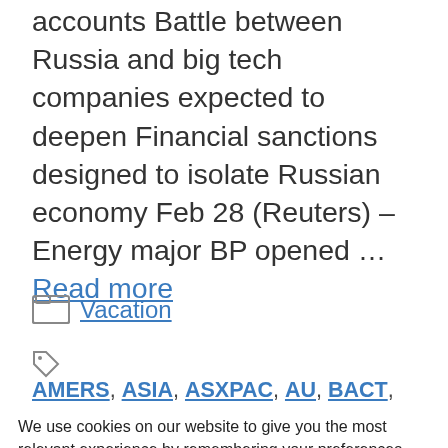accounts Battle between Russia and big tech companies expected to deepen Financial sanctions designed to isolate Russian economy Feb 28 (Reuters) – Energy major BP opened … Read more
Vacation
AMERS, ASIA, ASXPAC, AU, BACT, CEEU, CISC, CMPELC, CMPNY, COMP08, CPAER
We use cookies on our website to give you the most relevant experience by remembering your preferences and repeat visits. By clicking "Accept All", you consent to the use of ALL the cookies. However, you may visit "Cookie Settings" to provide a controlled consent.